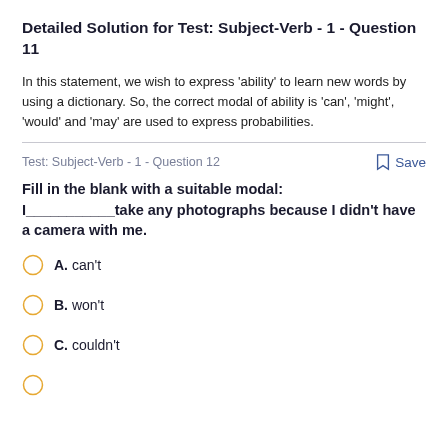Detailed Solution for Test: Subject-Verb - 1 - Question 11
In this statement, we wish to express 'ability' to learn new words by using a dictionary. So, the correct modal of ability is 'can', 'might', 'would' and 'may' are used to express probabilities.
Test: Subject-Verb - 1 - Question 12
Fill in the blank with a suitable modal:
I___________take any photographs because I didn't have a camera with me.
A. can't
B. won't
C. couldn't